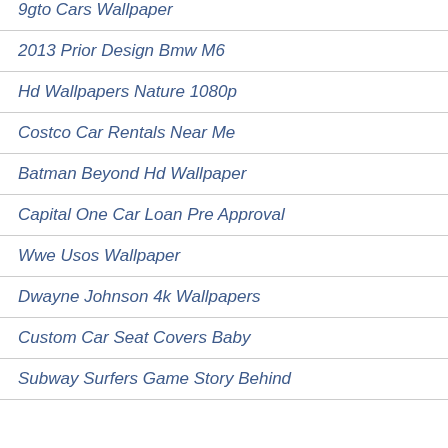9gto Cars Wallpaper
2013 Prior Design Bmw M6
Hd Wallpapers Nature 1080p
Costco Car Rentals Near Me
Batman Beyond Hd Wallpaper
Capital One Car Loan Pre Approval
Wwe Usos Wallpaper
Dwayne Johnson 4k Wallpapers
Custom Car Seat Covers Baby
Subway Surfers Game Story Behind